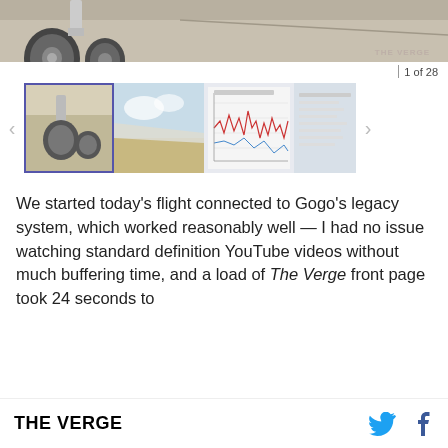[Figure (photo): Close-up photo of aircraft landing gear / wheels on tarmac with THE VERGE watermark]
1 of 28
[Figure (photo): Thumbnail strip showing 4 images: 1) selected thumbnail of aircraft undercarriage, 2) aircraft wing with sky, 3) a chart/graph screenshot, 4) partial fourth image. Navigation arrows on left and right.]
We started today's flight connected to Gogo's legacy system, which worked reasonably well — I had no issue watching standard definition YouTube videos without much buffering time, and a load of The Verge front page took 24 seconds to
THE VERGE